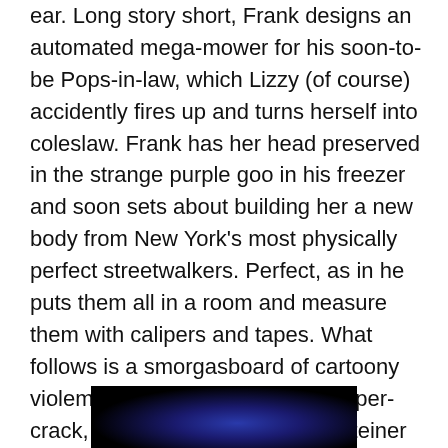ear. Long story short, Frank designs an automated mega-mower for his soon-to-be Pops-in-law, which Lizzy (of course) accidently fires up and turns herself into coleslaw. Frank has her head preserved in the strange purple goo in his freezer and soon sets about building her a new body from New York's most physically perfect streetwalkers. Perfect, as in he puts them all in a room and measure them with calipers and tapes. What follows is a smorgasboard of cartoony violemnce, exploding hookers, super-crack, and the greatest Frankensteiner monster of all, a 6 foot tall wonder woman with a club foot and a facial twitch that would put Curly Howard to shame. To paraphrase the mighty Joe Bob Briggs, blood, breasts and beasts are in full effect.
[Figure (photo): Dark photo with blue glowing light, partially visible at bottom of page]